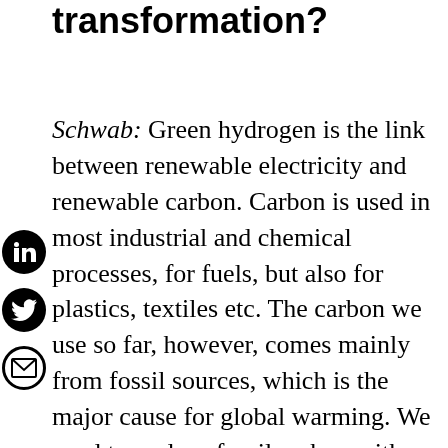transformation?
Schwab: Green hydrogen is the link between renewable electricity and renewable carbon. Carbon is used in most industrial and chemical processes, for fuels, but also for plastics, textiles etc. The carbon we use so far, however, comes mainly from fossil sources, which is the major cause for global warming. We need to replace fossil carbon with non-fossil carbon. And we can produce the industrially sought-after hydrocarbons with the help of green